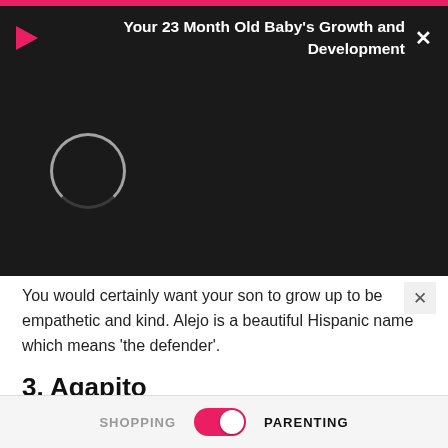[Figure (screenshot): Black video ad banner overlay showing a play button icon, video loading circle, title 'Your 23 Month Old Baby's Growth and Development', and a close X button]
You would certainly want your son to grow up to be empathetic and kind. Alejo is a beautiful Hispanic name which means 'the defender'.
3. Agapito
Agapito is a masculine name which means 'beloved'. It is a wonderful Hispanic name derived from Latin.
4. Alarico
SHOPPING   PARENTING